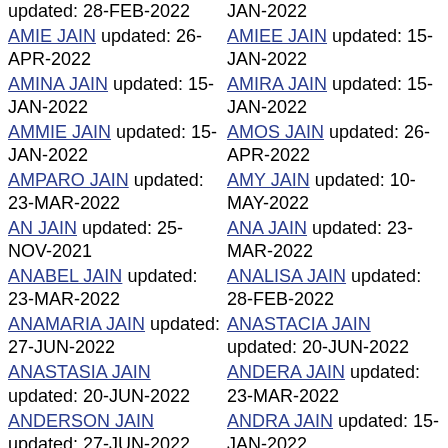updated: 28-FEB-2022 (partial, left col top)
JAN-2022 (partial, right col top)
AMIE JAIN updated: 26-APR-2022
AMIEE JAIN updated: 15-JAN-2022
AMINA JAIN updated: 15-JAN-2022
AMIRA JAIN updated: 15-JAN-2022
AMMIE JAIN updated: 15-JAN-2022
AMOS JAIN updated: 26-APR-2022
AMPARO JAIN updated: 23-MAR-2022
AMY JAIN updated: 10-MAY-2022
AN JAIN updated: 25-NOV-2021
ANA JAIN updated: 23-MAR-2022
ANABEL JAIN updated: 23-MAR-2022
ANALISA JAIN updated: 28-FEB-2022
ANAMARIA JAIN updated: 27-JUN-2022
ANASTACIA JAIN updated: 20-JUN-2022
ANASTASIA JAIN updated: 20-JUN-2022
ANDERA JAIN updated: 23-MAR-2022
ANDERSON JAIN updated: 27-JUN-2022
ANDRA JAIN updated: 15-JAN-2022
ANDRE JAIN updated: (partial)
ANDREA JAIN updated: (partial)